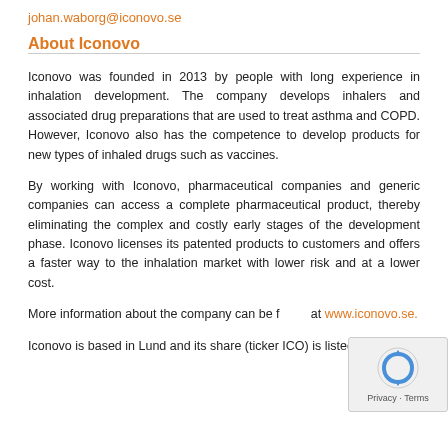johan.waborg@iconovo.se
About Iconovo
Iconovo was founded in 2013 by people with long experience in inhalation development. The company develops inhalers and associated drug preparations that are used to treat asthma and COPD. However, Iconovo also has the competence to develop products for new types of inhaled drugs such as vaccines.
By working with Iconovo, pharmaceutical companies and generic companies can access a complete pharmaceutical product, thereby eliminating the complex and costly early stages of the development phase. Iconovo licenses its patented products to customers and offers a faster way to the inhalation market with lower risk and at a lower cost.
More information about the company can be found at www.iconovo.se.
Iconovo is based in Lund and its share (ticker ICO) is listed